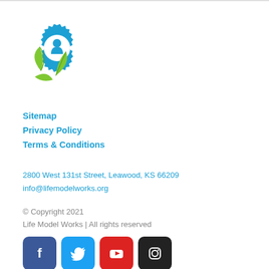[Figure (logo): Life Model Works logo: blue gear with green leaves and a person silhouette in the center]
Sitemap
Privacy Policy
Terms & Conditions
2800 West 131st Street, Leawood, KS 66209
info@lifemodelworks.org
© Copyright 2021
Life Model Works | All rights reserved
[Figure (illustration): Social media icons: Facebook (blue), Twitter (light blue), YouTube (red), Instagram (black)]